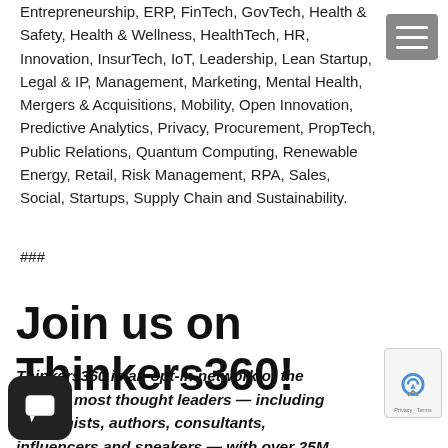Entrepreneurship, ERP, FinTech, GovTech, Health & Safety, Health & Wellness, HealthTech, HR, Innovation, InsurTech, IoT, Leadership, Lean Startup, Legal & IP, Management, Marketing, Mental Health, Mergers & Acquisitions, Mobility, Open Innovation, Predictive Analytics, Privacy, Procurement, PropTech, Public Relations, Quantum Computing, Renewable Energy, Retail, Risk Management, RPA, Sales, Social, Startups, Supply Chain and Sustainability.
###
Join us on Thinkers360!
Thinkers360 is an opt-in network of the world's most thought leaders — including academics, authors, consultants, influencers and speakers — with over 25M followers on social media